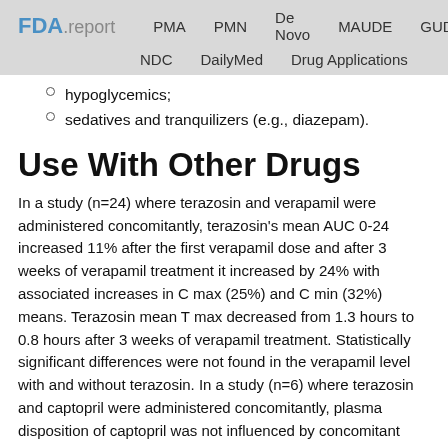FDA.report  PMA  PMN  De Novo  MAUDE  GUDID  NDC  DailyMed  Drug Applications
hypoglycemics;
sedatives and tranquilizers (e.g., diazepam).
Use With Other Drugs
In a study (n=24) where terazosin and verapamil were administered concomitantly, terazosin's mean AUC 0-24 increased 11% after the first verapamil dose and after 3 weeks of verapamil treatment it increased by 24% with associated increases in C max (25%) and C min (32%) means. Terazosin mean T max decreased from 1.3 hours to 0.8 hours after 3 weeks of verapamil treatment. Statistically significant differences were not found in the verapamil level with and without terazosin. In a study (n=6) where terazosin and captopril were administered concomitantly, plasma disposition of captopril was not influenced by concomitant administration of terazosin and terazosin maximum plasma concentrations